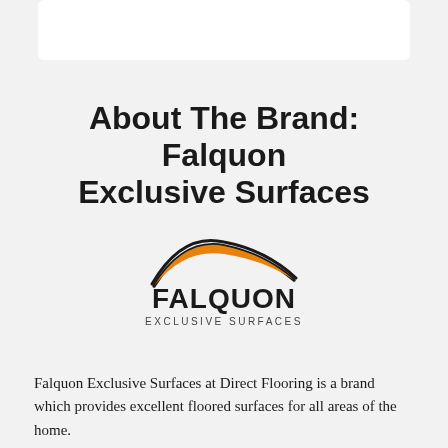About The Brand: Falquon Exclusive Surfaces
[Figure (logo): Falquon Exclusive Surfaces logo with orange swoosh arc above the text FALQUON in bold dark letters and EXCLUSIVE SURFACES in smaller spaced letters below]
Falquon Exclusive Surfaces at Direct Flooring is a brand which provides excellent floored surfaces for all areas of the home.